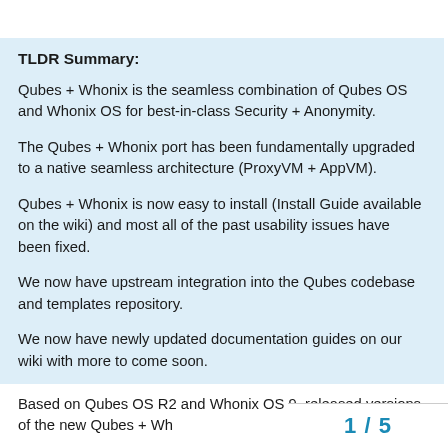TLDR Summary:
Qubes + Whonix is the seamless combination of Qubes OS and Whonix OS for best-in-class Security + Anonymity.
The Qubes + Whonix port has been fundamentally upgraded to a native seamless architecture (ProxyVM + AppVM).
Qubes + Whonix is now easy to install (Install Guide available on the wiki) and most all of the past usability issues have been fixed.
We now have upstream integration into the Qubes codebase and templates repository.
We now have newly updated documentation guides on our wiki with more to come soon.
Based on Qubes OS R2 and Whonix OS 9, released versions of the new Qubes + Wh
1 / 5